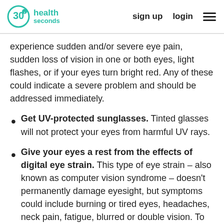30seconds health | sign up | login
experience sudden and/or severe eye pain, sudden loss of vision in one or both eyes, light flashes, or if your eyes turn bright red. Any of these could indicate a severe problem and should be addressed immediately.
Get UV-protected sunglasses. Tinted glasses will not protect your eyes from harmful UV rays.
Give your eyes a rest from the effects of digital eye strain. This type of eye strain – also known as computer vision syndrome – doesn't permanently damage eyesight, but symptoms could include burning or tired eyes, headaches, neck pain, fatigue, blurred or double vision. To rest your eyes, it's good to look up from your work every 20 minutes for a moment, about 20 feet...